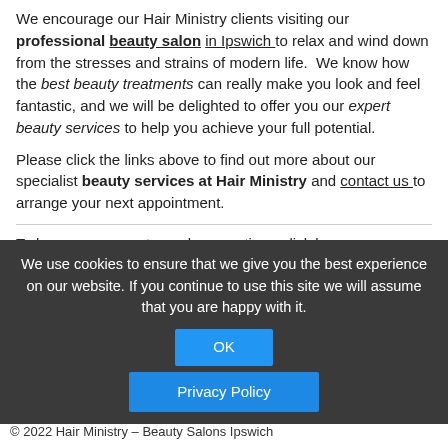We encourage our Hair Ministry clients visiting our professional beauty salon in Ipswich to relax and wind down from the stresses and strains of modern life.  We know how the best beauty treatments can really make you look and feel fantastic, and we will be delighted to offer you our expert beauty services to help you achieve your full potential.
Please click the links above to find out more about our specialist beauty services at Hair Ministry and contact us to arrange your next appointment.
To leave a comment or ask a question - click here
We use cookies to ensure that we give you the best experience on our website. If you continue to use this site we will assume that you are happy with it.
OK
Privacy Policy
© 2022 Hair Ministry – Beauty Salons Ipswich